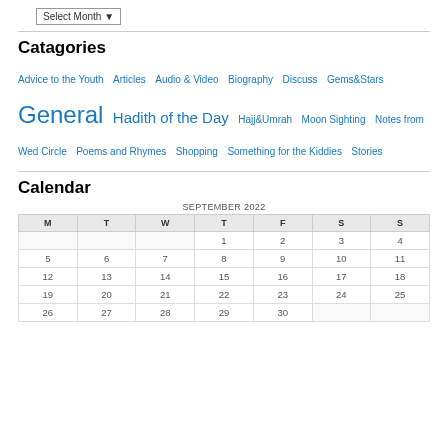Select Month
Catagories
Advice to the Youth  Articles  Audio & Video  Biography  Discuss  Gems&Stars  General  Hadith of the Day  Hajj&Umrah  Moon Sighting  Notes from Wed Circle  Poems and Rhymes  Shopping  Something for the Kiddies  Stories
Calendar
| M | T | W | T | F | S | S |
| --- | --- | --- | --- | --- | --- | --- |
|  |  |  | 1 | 2 | 3 | 4 |
| 5 | 6 | 7 | 8 | 9 | 10 | 11 |
| 12 | 13 | 14 | 15 | 16 | 17 | 18 |
| 19 | 20 | 21 | 22 | 23 | 24 | 25 |
| 26 | 27 | 28 | 29 | 30 |  |  |